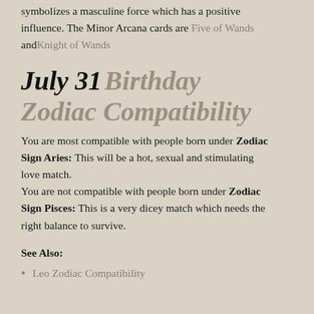symbolizes a masculine force which has a positive influence. The Minor Arcana cards are Five of Wands and Knight of Wands
July 31 Birthday Zodiac Compatibility
You are most compatible with people born under Zodiac Sign Aries: This will be a hot, sexual and stimulating love match.
You are not compatible with people born under Zodiac Sign Pisces: This is a very dicey match which needs the right balance to survive.
See Also:
Leo Zodiac Compatibility